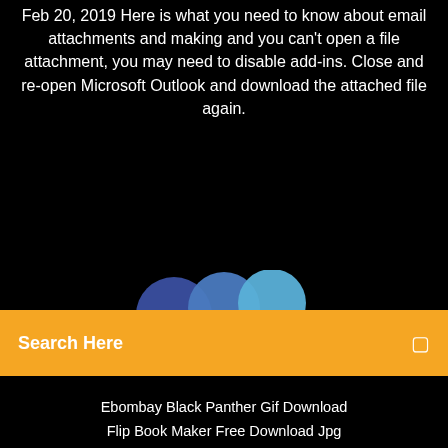Feb 20, 2019 Here is what you need to know about email attachments and making and you can't open a file attachment, you may need to disable add-ins. Close and re-open Microsoft Outlook and download the attached file again.
[Figure (illustration): Three overlapping circular avatar/social icons in shades of blue — dark blue, medium blue, light blue — partially visible at bottom of dark background section]
Search Here
Ebombay Black Panther Gif Download
Flip Book Maker Free Download Jpg
Download Game Conflict Vietnam Pc Highly Compressed
Download Minecraft On Chrome
Copyright ©2022 All rights reserved